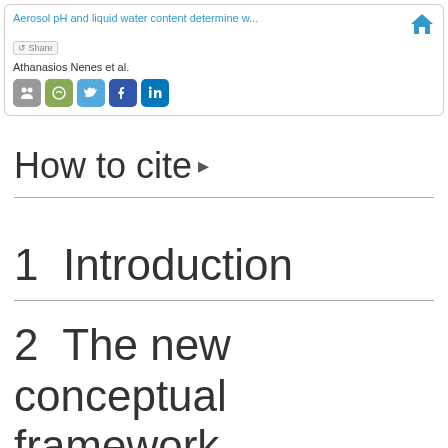Aerosol pH and liquid water content determine w... | Athanasios Nenes et al.
How to cite ▸
1  Introduction
2  The new conceptual framework